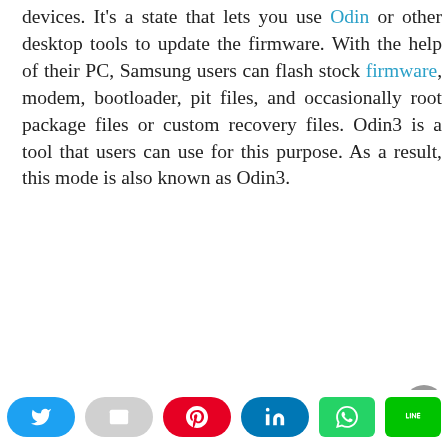devices. It's a state that lets you use Odin or other desktop tools to update the firmware. With the help of their PC, Samsung users can flash stock firmware, modem, bootloader, pit files, and occasionally root package files or custom recovery files. Odin3 is a tool that users can use for this purpose. As a result, this mode is also known as Odin3.
To access the download mode on your Samsung Note 10 or above the phone, click the following button combination:
This website uses cookies.
[Figure (screenshot): Cookie consent bar with Accept button and social share bar with Twitter, Email, Pinterest, LinkedIn, WhatsApp, and LINE buttons]